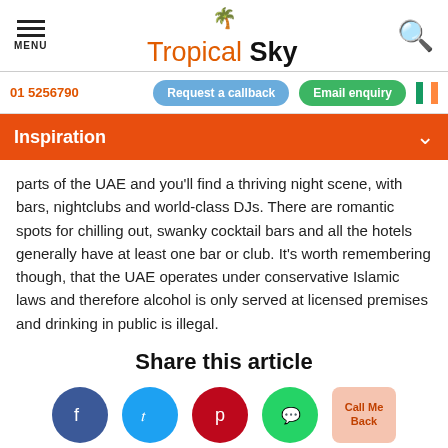MENU | Tropical Sky | Search
01 5256790
Request a callback | Email enquiry
Inspiration
parts of the UAE and you'll find a thriving night scene, with bars, nightclubs and world-class DJs. There are romantic spots for chilling out, swanky cocktail bars and all the hotels generally have at least one bar or club. It's worth remembering though, that the UAE operates under conservative Islamic laws and therefore alcohol is only served at licensed premises and drinking in public is illegal.
Share this article
[Figure (other): Social share buttons: Facebook, Twitter, Pinterest, WhatsApp, and Call Me Back button]